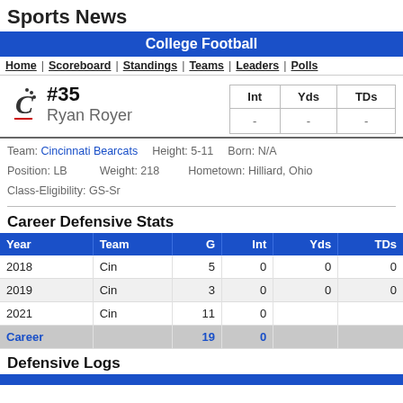Sports News
College Football
Home | Scoreboard | Standings | Teams | Leaders | Polls
#35 Ryan Royer
| Int | Yds | TDs |
| --- | --- | --- |
| - | - | - |
Team: Cincinnati Bearcats   Height: 5-11   Born: N/A
Position: LB   Weight: 218   Hometown: Hilliard, Ohio
Class-Eligibility: GS-Sr
Career Defensive Stats
| Year | Team | G | Int | Yds | TDs |
| --- | --- | --- | --- | --- | --- |
| 2018 | Cin | 5 | 0 | 0 | 0 |
| 2019 | Cin | 3 | 0 | 0 | 0 |
| 2021 | Cin | 11 | 0 |  |  |
| Career |  | 19 | 0 |  |  |
Defensive Logs